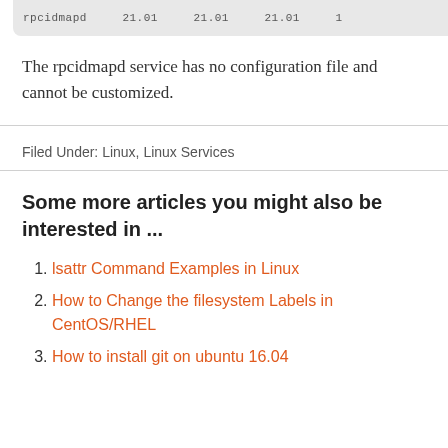The rpcidmapd service has no configuration file and cannot be customized.
Filed Under: Linux, Linux Services
Some more articles you might also be interested in ...
lsattr Command Examples in Linux
How to Change the filesystem Labels in CentOS/RHEL
How to install git on ubuntu 16.04